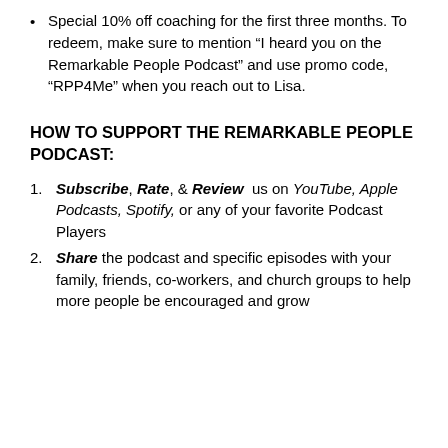Special 10% off coaching for the first three months. To redeem, make sure to mention “I heard you on the Remarkable People Podcast” and use promo code, “RPP4Me” when you reach out to Lisa.
HOW TO SUPPORT THE REMARKABLE PEOPLE PODCAST:
Subscribe, Rate, & Review us on YouTube, Apple Podcasts, Spotify, or any of your favorite Podcast Players
Share the podcast and specific episodes with your family, friends, co-workers, and church groups to help more people be encouraged and grow